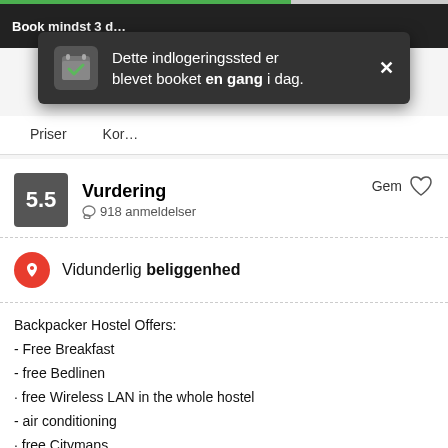Book mindst 3 d...
Dette indlogeringssted er blevet booket en gang i dag.
Priser   Kor...
5.5  Vurdering  918 anmeldelser   Gem
Vidunderlig beliggenhed
Backpacker Hostel Offers:
- Free Breakfast
- free Bedlinen
· free Wireless LAN in the whole hostel
- air conditioning
· free Citymaps
· free deposit boxes
WE ARE RIGHT IN THE CITY CENTRE - 5minutes walk from OLD TOWN SQUARE. If you are looking for comfortable, clean and quiet accommodation in the centre of Prague with friendly atmosphere, our
vis mere